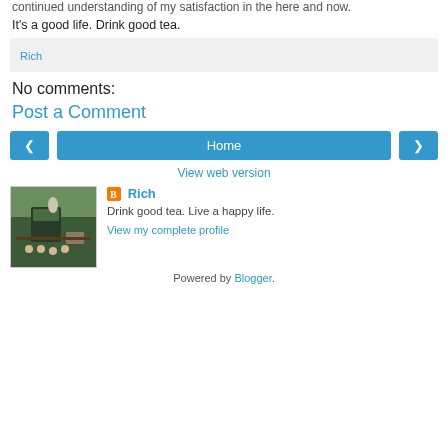continued understanding of my satisfaction in the here and now.
It's a good life. Drink good tea.
Rich
No comments:
Post a Comment
[Figure (screenshot): Navigation buttons: left arrow, Home, right arrow]
View web version
[Figure (photo): Photo of a tea table with tea set, wooden box, and candles]
Rich
Drink good tea. Live a happy life.
View my complete profile
Powered by Blogger.